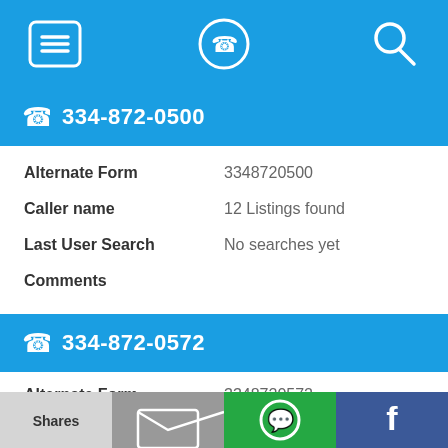[Figure (screenshot): Top navigation bar with hamburger menu, phone/location icon, and search icon on blue background]
334-872-0500
| Field | Value |
| --- | --- |
| Alternate Form | 3348720500 |
| Caller name | 12 Listings found |
| Last User Search | No searches yet |
| Comments |  |
334-872-0572
| Field | Value |
| --- | --- |
| Alternate Form | 3348720572 |
[Figure (screenshot): Bottom toolbar with Shares, email, WhatsApp, and Facebook buttons]